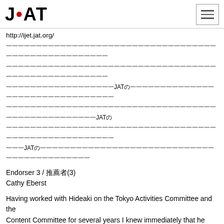JAT | http://ijet.jat.org/
http://ijet.jat.org/
（Japanese text block about JAT）
Endorser 3 / 推薦者(3)
Cathy Eberst
Having worked with Hideaki on the Tokyo Activities Committee and the Content Committee for several years I knew immediately that he was someone I wanted to work with on the IJET-25 Organizing Committee and he has lived